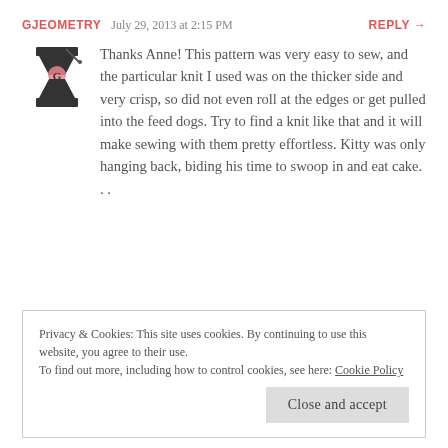GJEOMETRY   July 29, 2013 at 2:15 PM   REPLY →
[Figure (logo): Gjeometry avatar logo: stylized hourglass shape with a pink circle and a 'G' lettermark in black and grey]
Thanks Anne! This pattern was very easy to sew, and the particular knit I used was on the thicker side and very crisp, so did not even roll at the edges or get pulled into the feed dogs. Try to find a knit like that and it will make sewing with them pretty effortless. Kitty was only hanging back, biding his time to swoop in and eat cake. . .
Privacy & Cookies: This site uses cookies. By continuing to use this website, you agree to their use.
To find out more, including how to control cookies, see here: Cookie Policy